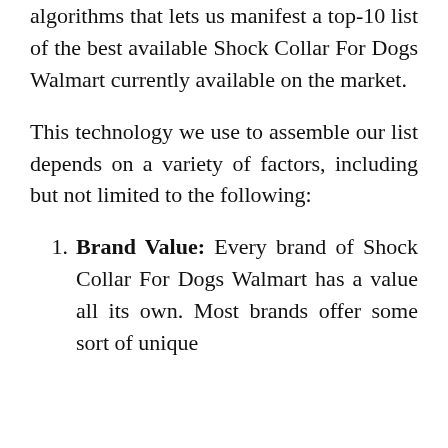algorithms that lets us manifest a top-10 list of the best available Shock Collar For Dogs Walmart currently available on the market.
This technology we use to assemble our list depends on a variety of factors, including but not limited to the following:
Brand Value: Every brand of Shock Collar For Dogs Walmart has a value all its own. Most brands offer some sort of unique